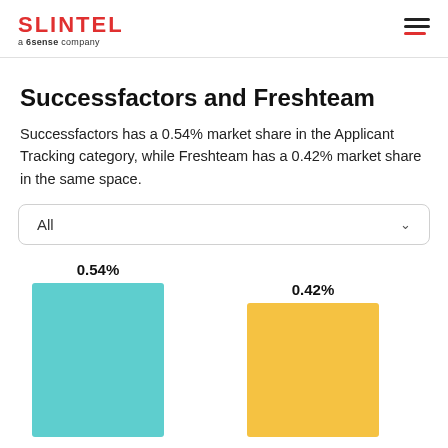SLINTEL a 6sense company
Successfactors and Freshteam
Successfactors has a 0.54% market share in the Applicant Tracking category, while Freshteam has a 0.42% market share in the same space.
[Figure (bar-chart): Successfactors and Freshteam market share]